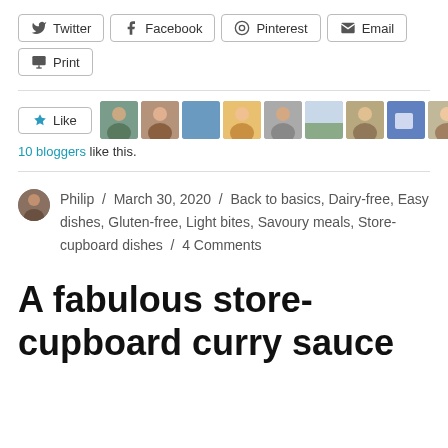Twitter | Facebook | Pinterest | Email | Print (share buttons)
[Figure (other): Like button with 9 blogger avatar thumbnails showing various people]
10 bloggers like this.
Philip / March 30, 2020 / Back to basics, Dairy-free, Easy dishes, Gluten-free, Light bites, Savoury meals, Store-cupboard dishes / 4 Comments
A fabulous store-cupboard curry sauce